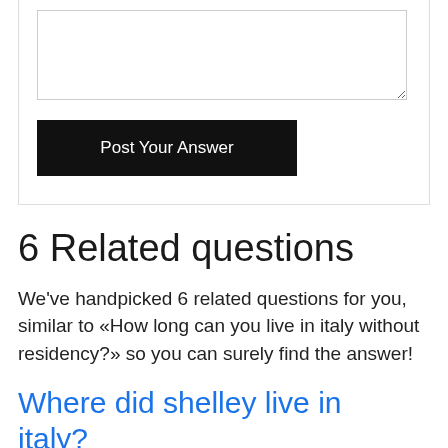[Figure (screenshot): Text area input box for posting an answer, partially visible at the top of the page]
Post Your Answer
6 Related questions
We've handpicked 6 related questions for you, similar to «How long can you live in italy without residency?» so you can surely find the answer!
Where did shelley live in italy?